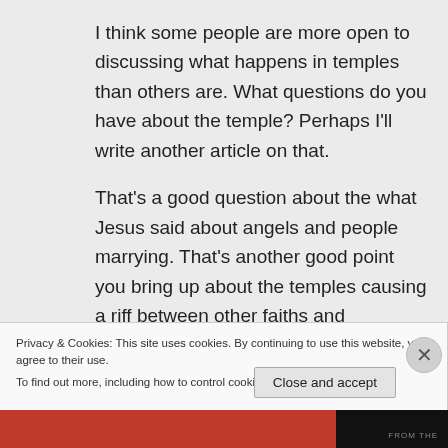I think some people are more open to discussing what happens in temples than others are. What questions do you have about the temple? Perhaps I'll write another article on that.
That's a good question about the what Jesus said about angels and people marrying. That's another good point you bring up about the temples causing a riff between other faiths and Mormons. I'll do a
Privacy & Cookies: This site uses cookies. By continuing to use this website, you agree to their use.
To find out more, including how to control cookies, see here: Cookie Policy